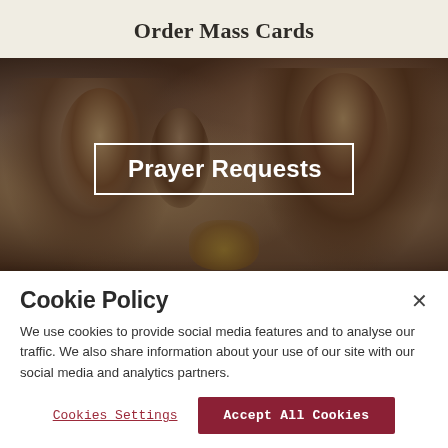Order Mass Cards
[Figure (photo): Photo of people praying with heads bowed at a table, dark atmospheric image with a white-bordered text overlay reading 'Prayer Requests']
Cookie Policy
We use cookies to provide social media features and to analyse our traffic. We also share information about your use of our site with our social media and analytics partners.
Cookies Settings
Accept All Cookies